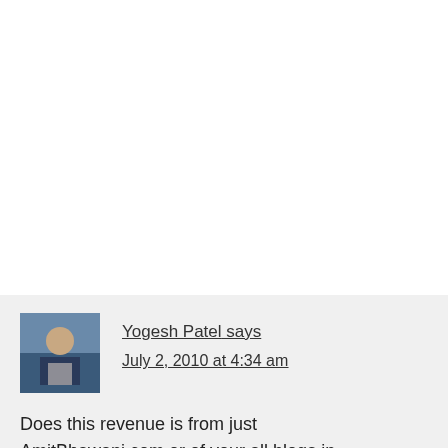Yogesh Patel says
July 2, 2010 at 4:34 am

Does this revenue is from just AmitBhawani.com or of your all blogs in